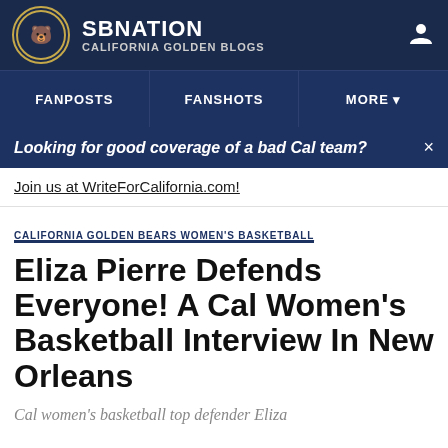SBNation California Golden Blogs
FANPOSTS | FANSHOTS | MORE
Looking for good coverage of a bad Cal team?
Join us at WriteForCalifornia.com!
CALIFORNIA GOLDEN BEARS WOMEN'S BASKETBALL
Eliza Pierre Defends Everyone! A Cal Women's Basketball Interview In New Orleans
Cal women's basketball top defender Eliza